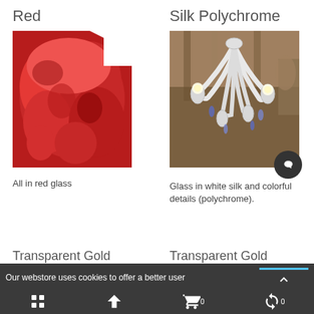Red
Silk Polychrome
[Figure (photo): All in red glass — red decorative glass chandelier detail]
[Figure (photo): Glass in white silk and colorful details (polychrome) — Murano glass chandelier in white and blue]
All in red glass
Glass in white silk and colorful details (polychrome).
Transparent Gold
Transparent Gold
Our webstore uses cookies to offer a better user